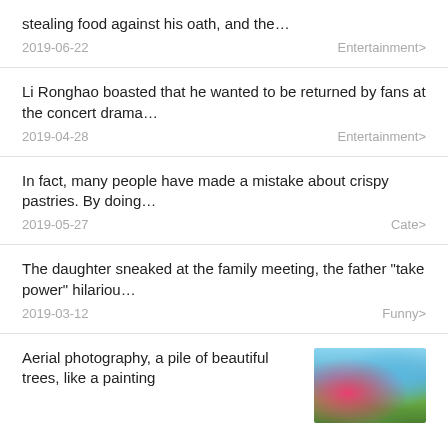stealing food against his oath, and the… | 2019-06-22 | Entertainment>
Li Ronghao boasted that he wanted to be returned by fans at the concert drama… | 2019-04-28 | Entertainment>
In fact, many people have made a mistake about crispy pastries. By doing… | 2019-05-27 | Cate>
The daughter sneaked at the family meeting, the father "take power" hilariou… | 2019-03-12 | Funny>
Aerial photography, a pile of beautiful trees, like a painting